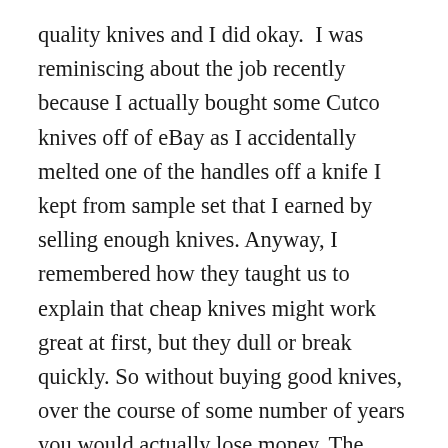quality knives and I did okay.  I was reminiscing about the job recently because I actually bought some Cutco knives off of eBay as I accidentally melted one of the handles off a knife I kept from sample set that I earned by selling enough knives. Anyway, I remembered how they taught us to explain that cheap knives might work great at first, but they dull or break quickly. So without buying good knives, over the course of some number of years you would actually lose money. The company was trying to justify why you would spend a lot of money (they were quite expensive, average $70 a knife in the early 90s) on a set of knives. Let’s take for granted that these are quality knives and that you would save money in the long run.  I was smart enough back then to know that this wasn’t how the real world worked for many